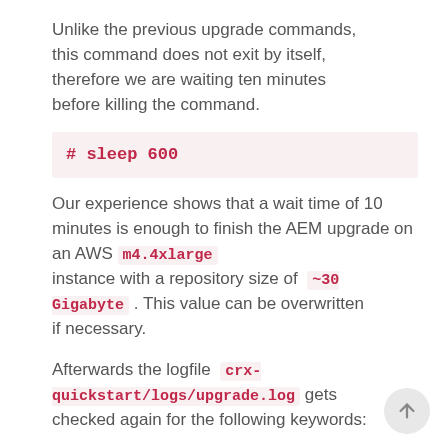Unlike the previous upgrade commands, this command does not exit by itself, therefore we are waiting ten minutes before killing the command.
# sleep 600
Our experience shows that a wait time of 10 minutes is enough to finish the AEM upgrade on an AWS m4.4xlarge instance with a repository size of ~30 Gigabyte . This value can be overwritten if necessary.
Afterwards the logfile crx-quickstart/logs/upgrade.log gets checked again for the following keywords: